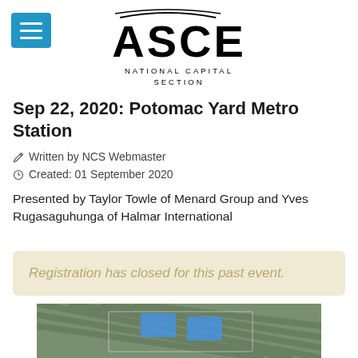ASCE NATIONAL CAPITAL SECTION
Sep 22, 2020: Potomac Yard Metro Station
Written by NCS Webmaster
Created: 01 September 2020
Presented by Taylor Towle of Menard Group and Yves Rugasaguhunga of Halmar International
Registration has closed for this past event.
[Figure (photo): Aerial/overhead photo of the Potomac Yard Metro Station construction site showing building structure with blue rectangular elements]